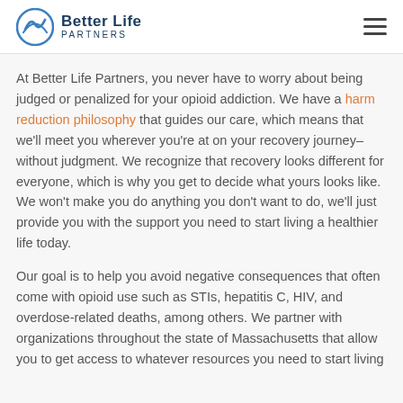Better Life Partners
At Better Life Partners, you never have to worry about being judged or penalized for your opioid addiction. We have a harm reduction philosophy that guides our care, which means that we'll meet you wherever you're at on your recovery journey–without judgment. We recognize that recovery looks different for everyone, which is why you get to decide what yours looks like. We won't make you do anything you don't want to do, we'll just provide you with the support you need to start living a healthier life today.
Our goal is to help you avoid negative consequences that often come with opioid use such as STIs, hepatitis C, HIV, and overdose-related deaths, among others. We partner with organizations throughout the state of Massachusetts that allow you to get access to whatever resources you need to start living